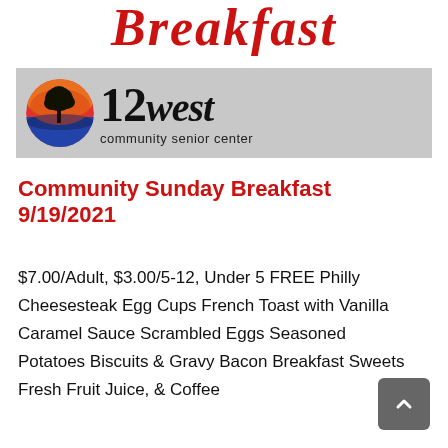Breakfast
[Figure (logo): 12 West Community Senior Center logo with circular tree sunset graphic on grey background]
Community Sunday Breakfast 9/19/2021
$7.00/Adult, $3.00/5-12, Under 5 FREE Philly Cheesesteak Egg Cups French Toast with Vanilla Caramel Sauce Scrambled Eggs Seasoned Potatoes Biscuits & Gravy Bacon Breakfast Sweets Fresh Fruit Juice, & Coffee